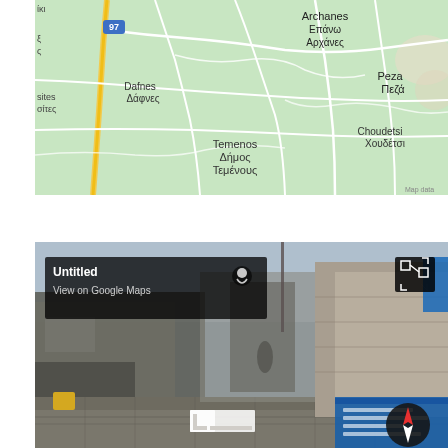[Figure (map): Google Maps view showing the area around Archanes/Επάνω Αρχάνες, Crete, Greece. Shows place names: Archanes Επάνω Αρχάνες, Peza Πεζά, Dafnes Δάφνες, Temenos Δήμος Τεμένους, Choudetsi Χουδέτσι, and route 97 badge. Green terrain with white roads and a yellow main road on the left.]
[Figure (screenshot): Google Street View screenshot of a narrow cobblestone alley/street in a Greek village. Shows stone buildings, a blue sign on the right, a yellow object on the left, and a person. Overlays include: a dark info panel with 'Untitled' and 'View on Google Maps', a pin icon, a fullscreen expand icon (top right), a Google Street View pegman icon (bottom center), and a compass/rotation button (bottom right).]